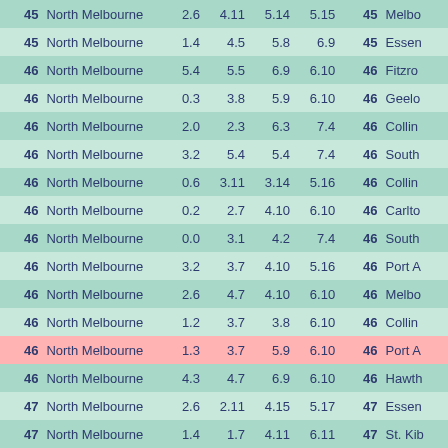| Score | Team | Q1 | Q2 | Q3 | Q4 | Score2 | Team2 |
| --- | --- | --- | --- | --- | --- | --- | --- |
| 45 | North Melbourne | 2.6 | 4.11 | 5.14 | 5.15 | 45 | Melbo |
| 45 | North Melbourne | 1.4 | 4.5 | 5.8 | 6.9 | 45 | Essen |
| 46 | North Melbourne | 5.4 | 5.5 | 6.9 | 6.10 | 46 | Fitzro |
| 46 | North Melbourne | 0.3 | 3.8 | 5.9 | 6.10 | 46 | Geelo |
| 46 | North Melbourne | 2.0 | 2.3 | 6.3 | 7.4 | 46 | Collin |
| 46 | North Melbourne | 3.2 | 5.4 | 5.4 | 7.4 | 46 | South |
| 46 | North Melbourne | 0.6 | 3.11 | 3.14 | 5.16 | 46 | Collin |
| 46 | North Melbourne | 0.2 | 2.7 | 4.10 | 6.10 | 46 | Carlto |
| 46 | North Melbourne | 0.0 | 3.1 | 4.2 | 7.4 | 46 | South |
| 46 | North Melbourne | 3.2 | 3.7 | 4.10 | 5.16 | 46 | Port A |
| 46 | North Melbourne | 2.6 | 4.7 | 4.10 | 6.10 | 46 | Melbo |
| 46 | North Melbourne | 1.2 | 3.7 | 3.8 | 6.10 | 46 | Collin |
| 46 | North Melbourne | 1.3 | 3.7 | 5.9 | 6.10 | 46 | Port A |
| 46 | North Melbourne | 4.3 | 4.7 | 6.9 | 6.10 | 46 | Hawth |
| 47 | North Melbourne | 2.6 | 2.11 | 4.15 | 5.17 | 47 | Essen |
| 47 | North Melbourne | 1.4 | 1.7 | 4.11 | 6.11 | 47 | St. Kib |